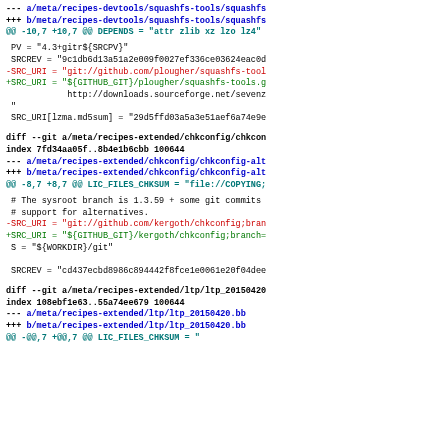--- a/meta/recipes-devtools/squashfs-tools/squashfs
+++ b/meta/recipes-devtools/squashfs-tools/squashfs
@@ -10,7 +10,7 @@ DEPENDS = "attr zlib xz lzo lz4"
PV = "4.3+gitr${SRCPV}"
SRCREV = "9c1db6d13a51a2e009f0027ef336ce03624eac0d"
-SRC_URI = "git://github.com/plougher/squashfs-tool
+SRC_URI = "${GITHUB_GIT}/plougher/squashfs-tools.g
             http://downloads.sourceforge.net/sevenz
 "
SRC_URI[lzma.md5sum] = "29d5ffd03a5a3e51aef6a74e9e
diff --git a/meta/recipes-extended/chkconfig/chkcon
index 7fd34aa05f..8b4e1b6cbb 100644
--- a/meta/recipes-extended/chkconfig/chkconfig-alt
+++ b/meta/recipes-extended/chkconfig/chkconfig-alt
@@ -8,7 +8,7 @@ LIC_FILES_CHKSUM = "file://COPYING;
# The sysroot branch is 1.3.59 + some git commits
# support for alternatives.
-SRC_URI = "git://github.com/kergoth/chkconfig;bran
+SRC_URI = "${GITHUB_GIT}/kergoth/chkconfig;branch=
 S = "${WORKDIR}/git"

 SRCREV = "cd437ecbd8986c894442f8fce1e0061e20f04dee
diff --git a/meta/recipes-extended/ltp/ltp_20150420
index 108ebf1e63..55a74ee679 100644
--- a/meta/recipes-extended/ltp/ltp_20150420.bb
+++ b/meta/recipes-extended/ltp/ltp_20150420.bb
@@ -@@ LIC_FILES_CHKSUM = "